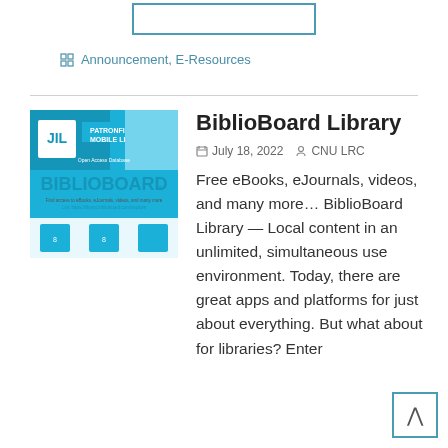[Figure (other): Partial search box at top of page]
Announcement, E-Resources
[Figure (illustration): BiblioBoard Library promotional image showing JIL Patron First Mobile Library and BiblioBoard branding on blue background]
BiblioBoard Library
July 18, 2022  CNU LRC
Free eBooks, eJournals, videos, and many more… BiblioBoard Library — Local content in an unlimited, simultaneous use environment. Today, there are great apps and platforms for just about everything. But what about for libraries? Enter